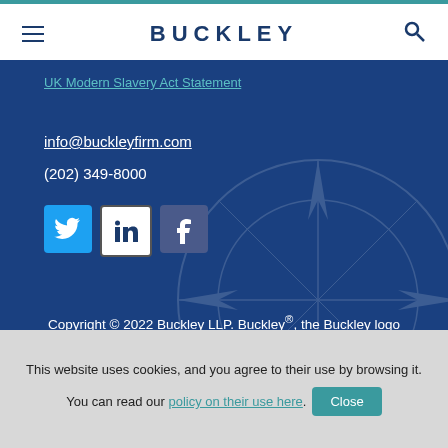BUCKLEY
UK Modern Slavery Act Statement
info@buckleyfirm.com
(202) 349-8000
[Figure (logo): Social media icons: Twitter (blue bird), LinkedIn (in on white), Facebook (f on purple)]
Copyright © 2022 Buckley LLP. Buckley®, the Buckley logo design, and InfoBytes® are service marks of Buckley LLP.
This website uses cookies, and you agree to their use by browsing it. You can read our policy on their use here. Close